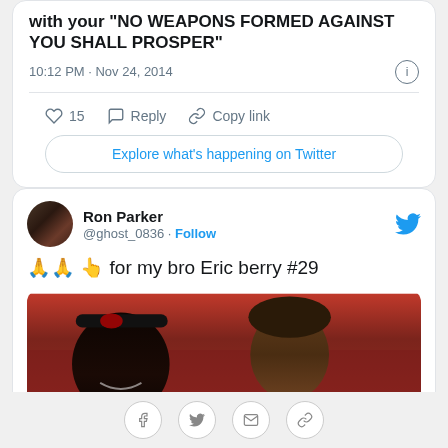with your "NO WEAPONS FORMED AGAINST YOU SHALL PROSPER"
10:12 PM · Nov 24, 2014
15  Reply  Copy link
Explore what's happening on Twitter
Ron Parker @ghost_0836 · Follow
🙏🙏 👆 for my bro Eric berry #29
[Figure (photo): Two NFL players smiling, one wearing a black headband with a KC Chiefs logo]